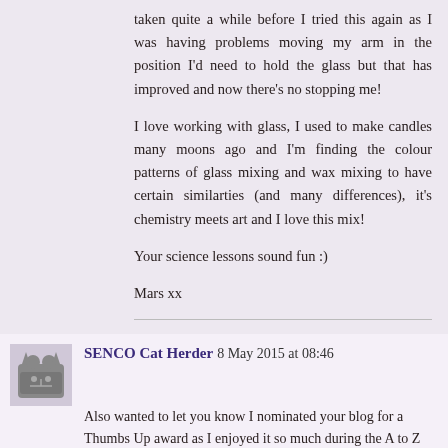taken quite a while before I tried this again as I was having problems moving my arm in the position I'd need to hold the glass but that has improved and now there's no stopping me!
I love working with glass, I used to make candles many moons ago and I'm finding the colour patterns of glass mixing and wax mixing to have certain similarties (and many differences), it's chemistry meets art and I love this mix!
Your science lessons sound fun :)
Mars xx
Reply
SENCO Cat Herder  8 May 2015 at 08:46
Also wanted to let you know I nominated your blog for a Thumbs Up award as I enjoyed it so much during the A to Z Challenge :)